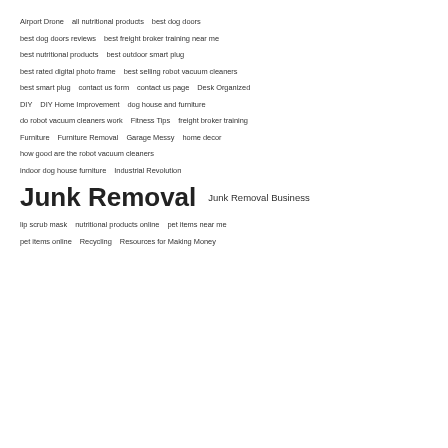Airport Drone   all nutritional products   best dog doors
best dog doors reviews   best freight broker training near me
best nutritional products   best outdoor smart plug
best rated digital photo frame   best selling robot vacuum cleaners
best smart plug   contact us form   contact us page   Desk Organized
DIY   DIY Home Improvement   dog house and furniture
do robot vacuum cleaners work   Fitness Tips   freight broker training
Furniture   Furniture Removal   Garage Messy   home decor
how good are the robot vacuum cleaners
indoor dog house furniture   Industrial Revolution
Junk Removal   Junk Removal Business
lip scrub mask   nutritional products online   pet items near me
pet items online   Recycling   Resources for Making Money